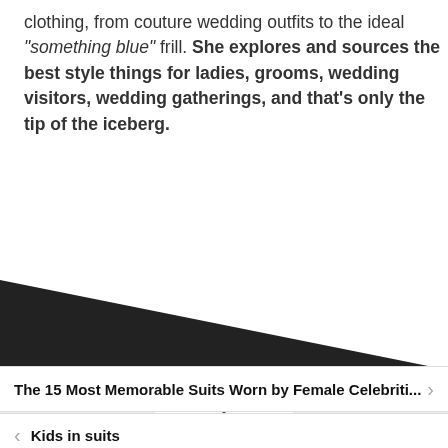clothing, from couture wedding outfits to the ideal “something blue” frill. She explores and sources the best style things for ladies, grooms, wedding visitors, wedding gatherings, and that’s only the tip of the iceberg.
[Figure (illustration): Dark triangular/diagonal shape filling the lower portion of a content section, transitioning from upper-left to lower-right, representing a decorative or background graphic element.]
[Figure (other): A scroll-to-top button with a chevron/caret-up symbol on a white square background, set against a light grey bar.]
The 15 Most Memorable Suits Worn by Female Celebriti...
Kids in suits